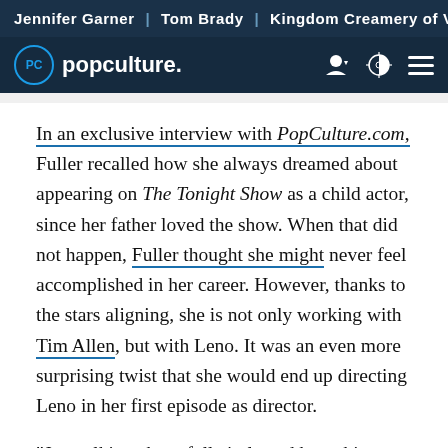Jennifer Garner | Tom Brady | Kingdom Creamery of Vermont
popculture.
In an exclusive interview with PopCulture.com, Fuller recalled how she always dreamed about appearing on The Tonight Show as a child actor, since her father loved the show. When that did not happen, Fuller thought she might never feel accomplished in her career. However, thanks to the stars aligning, she is not only working with Tim Allen, but with Leno. It was an even more surprising twist that she would end up directing Leno in her first episode as director.

"Just talking about full circle and how things align is just